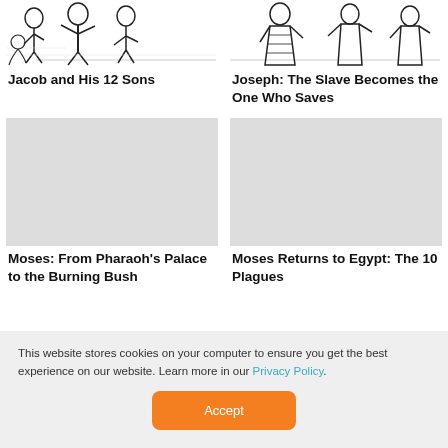[Figure (illustration): Black and white coloring page illustration of Jacob and children]
Jacob and His 12 Sons
[Figure (illustration): Black and white coloring page illustration of Joseph as slave]
Joseph: The Slave Becomes the One Who Saves
[Figure (illustration): Light gray placeholder image for Moses story]
Moses: From Pharaoh’s Palace to the Burning Bush
[Figure (illustration): Light gray placeholder image for Moses returns to Egypt]
Moses Returns to Egypt: The 10 Plagues
This website stores cookies on your computer to ensure you get the best experience on our website. Learn more in our Privacy Policy.